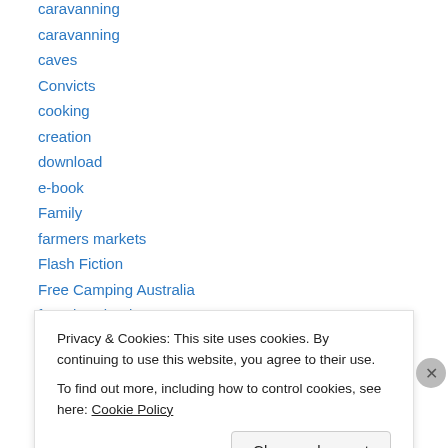caravanning
caves
Convicts
cooking
creation
download
e-book
Family
farmers markets
Flash Fiction
Free Camping Australia
free download
free ebook
Privacy & Cookies: This site uses cookies. By continuing to use this website, you agree to their use.
To find out more, including how to control cookies, see here: Cookie Policy
Close and accept